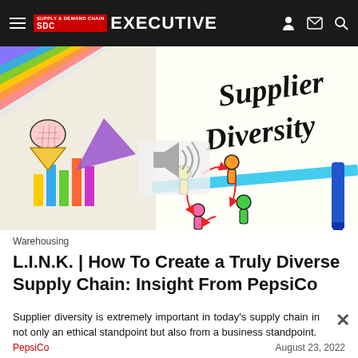Supply & Demand Chain Executive
[Figure (illustration): Illustration showing supplier diversity concept with colorful drawn figures of people connected by red arrows in a circle, bar chart illustration, and 'Supplier Diversity' handwritten text. A speaker/audio icon is overlaid in the center.]
Warehousing
L.I.N.K. | How To Create a Truly Diverse Supply Chain: Insight From PepsiCo
Supplier diversity is extremely important in today's supply chain in not only an ethical standpoint but also from a business standpoint.
PepsiCo
August 23, 2022